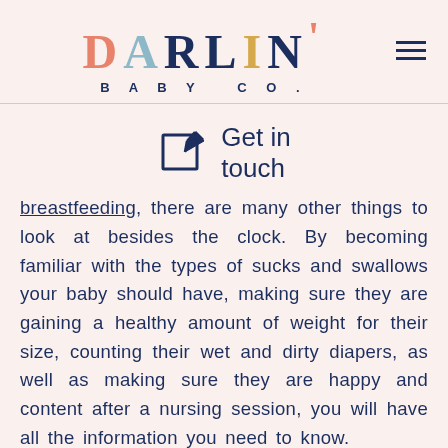DARLIN' BABY CO.
[Figure (illustration): Edit/write icon — a square with a pencil overlay, outlined in dark navy]
Get in touch
breastfeeding, there are many other things to look at besides the clock. By becoming familiar with the types of sucks and swallows your baby should have, making sure they are gaining a healthy amount of weight for their size, counting their wet and dirty diapers, as well as making sure they are happy and content after a nursing session, you will have all the information you need to know.